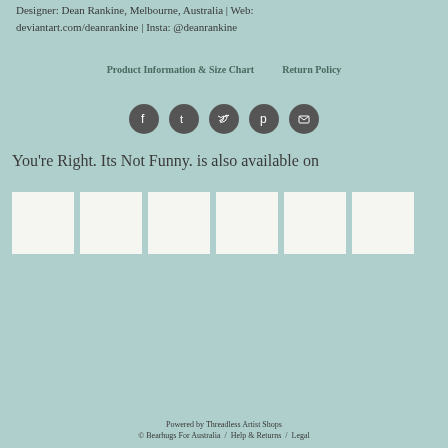Designer: Dean Rankine, Melbourne, Australia | Web: deviantart.com/deanrankine | Insta: @deanrankine
Product Information & Size Chart    Return Policy
[Figure (other): Row of five social media icon circles (Facebook, Tumblr, Twitter, Pinterest, Email) in dark grey]
You're Right. Its Not Funny. is also available on
[Figure (other): Six white square thumbnail product images in a row]
Powered by Threadless Artist Shops © Bearhugs For Australia / Help & Returns / Legal